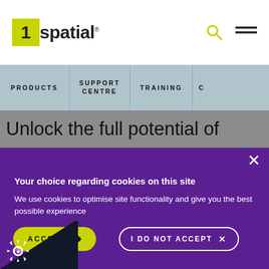[Figure (logo): 1spatial logo - yellow square with numeral 1 and text 'spatial' with trademark symbol]
PRODUCTS | SUPPORT CENTRE | TRAINING | C
Unlock the full potential of
Your choice regarding cookies on this site
We use cookies to optimise site functionality and give you the best possible experience
ACCEPT
I DO NOT ACCEPT
SETTINGS